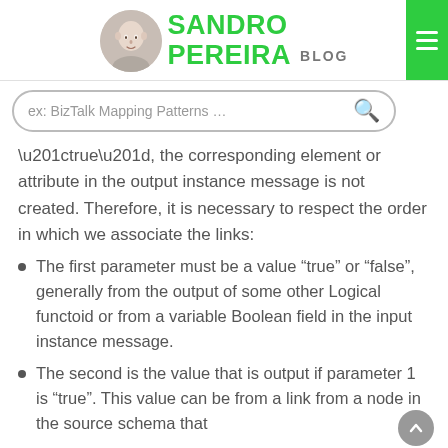SANDRO PEREIRA BLOG
“true”, the corresponding element or attribute in the output instance message is not created. Therefore, it is necessary to respect the order in which we associate the links:
The first parameter must be a value “true” or “false”, generally from the output of some other Logical functoid or from a variable Boolean field in the input instance message.
The second is the value that is output if parameter 1 is “true”. This value can be from a link from a node in the source schema that